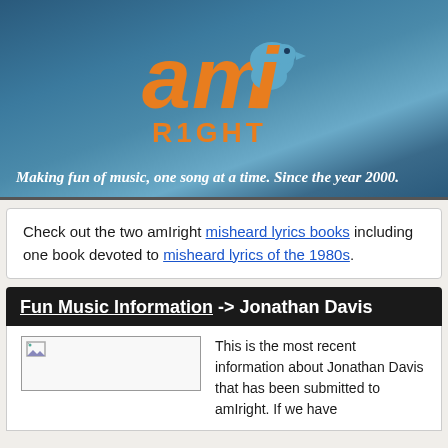[Figure (logo): amIright logo with orange stylized text 'am' and a blue bird figure, orange text 'R1GHT' below, on a blue gradient background]
Making fun of music, one song at a time. Since the year 2000.
Check out the two amIright misheard lyrics books including one book devoted to misheard lyrics of the 1980s.
Fun Music Information -> Jonathan Davis
[Figure (photo): Placeholder image box with broken image icon for Jonathan Davis]
This is the most recent information about Jonathan Davis that has been submitted to amIright. If we have